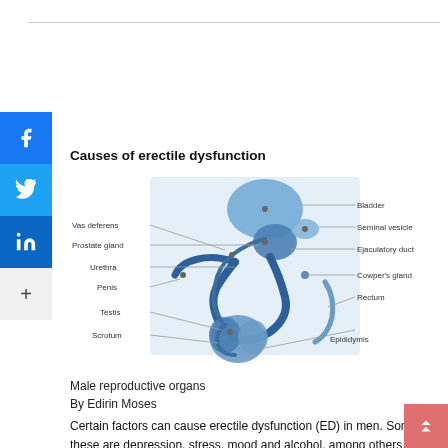Causes of erectile dysfunction
[Figure (illustration): Anatomical diagram of male reproductive organs labeled with: Vas deferens, Prostate gland, Urethra, Penis, Testis, Scrotum (left side), and Bladder, Seminal vesicle, Ejaculatory duct, Cowper's gland, Rectum, Epididymis (right side). Blue-toned medical illustration.]
Male reproductive organs
By Edirin Moses
Certain factors can cause erectile dysfunction (ED) in men. Some of these are depression, stress, mood and alcohol, among others.